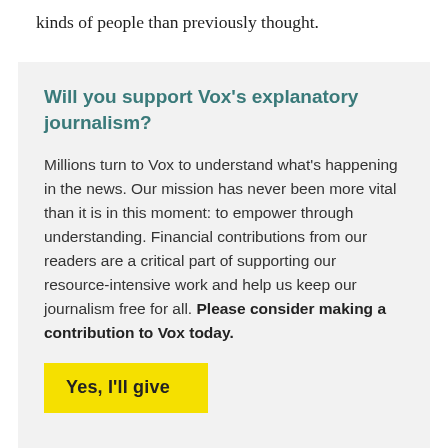kinds of people than previously thought.
Will you support Vox’s explanatory journalism?
Millions turn to Vox to understand what’s happening in the news. Our mission has never been more vital than it is in this moment: to empower through understanding. Financial contributions from our readers are a critical part of supporting our resource-intensive work and help us keep our journalism free for all. Please consider making a contribution to Vox today.
Yes, I'll give